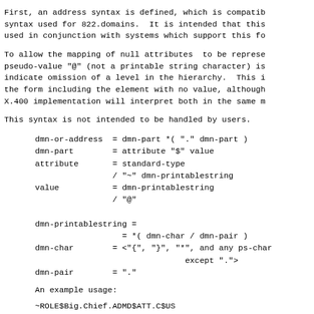First, an address syntax is defined, which is compatible with the syntax used for 822.domains.  It is intended that this syntax be used in conjunction with systems which support this fo
To allow the mapping of null attributes  to be represented, a pseudo-value "@" (not a printable string character) is used to indicate omission of a level in the hierarchy.  This is preferred to the form including the element with no value, although a conformant X.400 implementation will interpret both in the same m
This syntax is not intended to be handled by users.
An example usage:
~ROLE$Big.Chief.ADMD$ATT.C$US
PRMD$DEC.ADMD$@.C$US